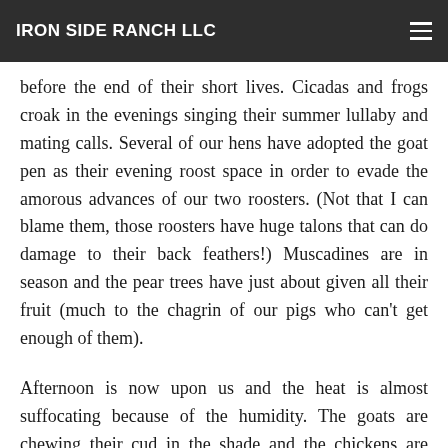IRON SIDE RANCH LLC
before the end of their short lives. Cicadas and frogs croak in the evenings singing their summer lullaby and mating calls. Several of our hens have adopted the goat pen as their evening roost space in order to evade the amorous advances of our two roosters. (Not that I can blame them, those roosters have huge talons that can do damage to their back feathers!) Muscadines are in season and the pear trees have just about given all their fruit (much to the chagrin of our pigs who can't get enough of them).
Afternoon is now upon us and the heat is almost suffocating because of the humidity. The goats are chewing their cud in the shade and the chickens are hiding somewhere under the trees on the hillside. The pigs go for a quick dip in their water and then nap lazily under the pear trees. Even our dogs have calmed down